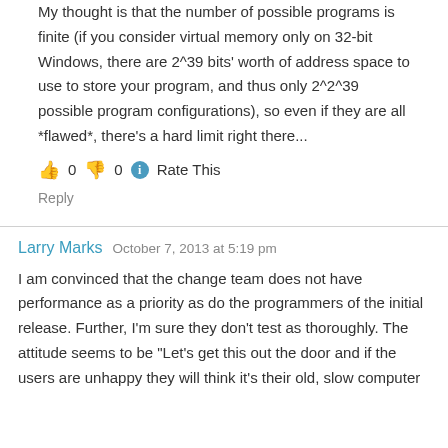My thought is that the number of possible programs is finite (if you consider virtual memory only on 32-bit Windows, there are 2^39 bits' worth of address space to use to store your program, and thus only 2^2^39 possible program configurations), so even if they are all *flawed*, there's a hard limit right there...
👍 0 👎 0 ℹ Rate This
Reply
Larry Marks   October 7, 2013 at 5:19 pm
I am convinced that the change team does not have performance as a priority as do the programmers of the initial release. Further, I'm sure they don't test as thoroughly. The attitude seems to be "Let's get this out the door and if the users are unhappy they will think it's their old, slow computer